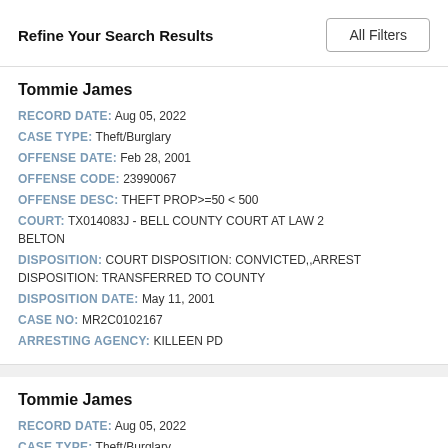Refine Your Search Results
Tommie James
RECORD DATE: Aug 05, 2022
CASE TYPE: Theft/Burglary
OFFENSE DATE: Feb 28, 2001
OFFENSE CODE: 23990067
OFFENSE DESC: THEFT PROP>=50 < 500
COURT: TX014083J - BELL COUNTY COURT AT LAW 2 BELTON
DISPOSITION: COURT DISPOSITION: CONVICTED,,ARREST DISPOSITION: TRANSFERRED TO COUNTY
DISPOSITION DATE: May 11, 2001
CASE NO: MR2C0102167
ARRESTING AGENCY: KILLEEN PD
Tommie James
RECORD DATE: Aug 05, 2022
CASE TYPE: Theft/Burglary
OFFENSE DATE: Mar 21, 1996